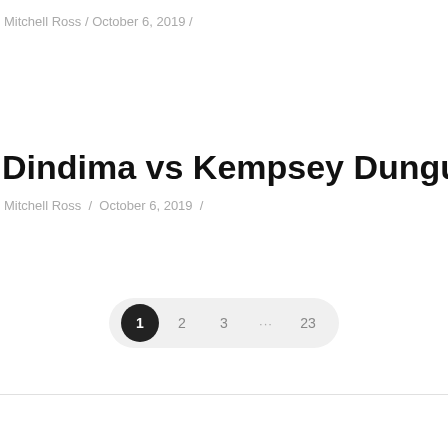Mitchell Ross / October 6, 2019 /
Dindima vs Kempsey Dungutti Brothers
Mitchell Ross / October 6, 2019 /
1 2 3 … 23